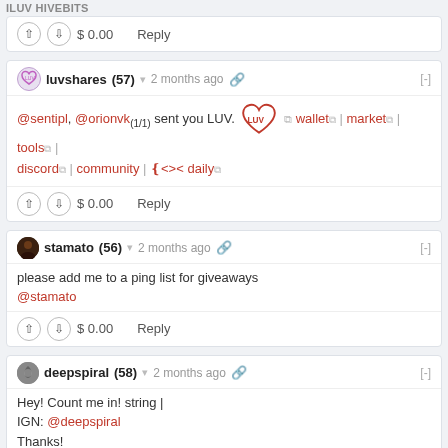ILUV HIVEBITS
$ 0.00   Reply
luvshares (57) ▾  2 months ago  [‑]
@sentipl, @orionvk(1/1) sent you LUV. [LUV heart] wallet | market | tools | discord | community | ❮<>❯ daily
$ 0.00   Reply
stamato (56) ▾  2 months ago  [‑]
please add me to a ping list for giveaways
@stamato
$ 0.00   Reply
deepspiral (58) ▾  2 months ago  [‑]
Hey! Count me in! string |
IGN: @deepspiral
Thanks!
$ 0.00   Reply